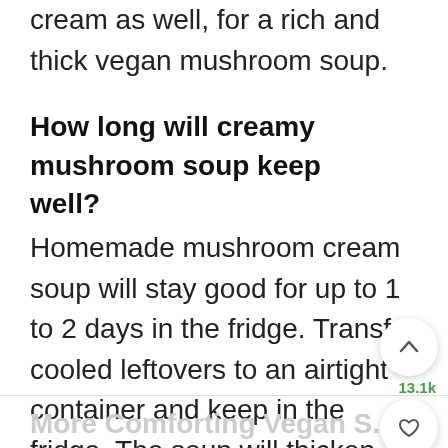cream as well, for a rich and thick vegan mushroom soup.
How long will creamy mushroom soup keep well?
Homemade mushroom cream soup will stay good for up to 1 to 2 days in the fridge. Transfer cooled leftovers to an airtight container and keep in the fridge. The soup will thicken more after cooling. So to thin the consistency add some water or vegetable stock while reheating. Reheat in a microwave or in a saucepan.
More Comforting Vegan S...